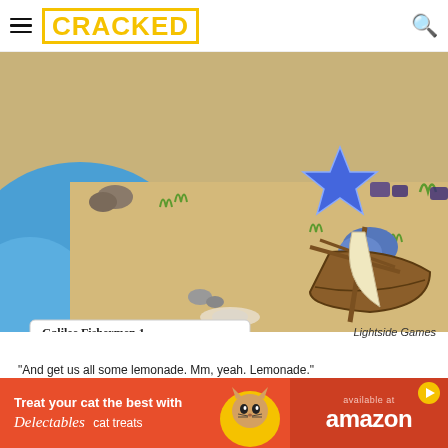CRACKED
[Figure (screenshot): Game screenshot showing a beach scene with a wooden sailboat, blue star collectible, rocks, and grass. A tooltip reads 'Galilee Fishermen 1' with unit icons and the number 50.]
Lightside Games
"And get us all some lemonade. Mm, yeah. Lemonade."
[Figure (other): Advertisement banner: 'Treat your cat the best with Delectables cat treats - available at amazon']